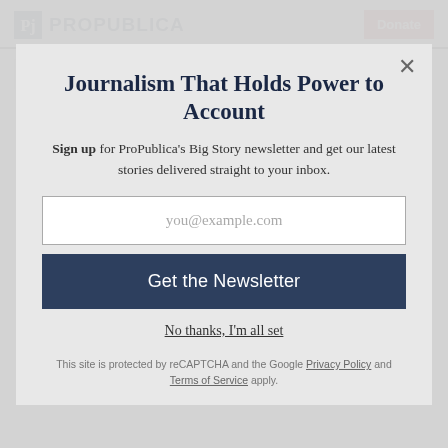ProPublica | Donate
Most Read | Most Emailed
Journalism That Holds Power to Account
Sign up for ProPublica's Big Story newsletter and get our latest stories delivered straight to your inbox.
you@example.com
Get the Newsletter
No thanks, I'm all set
This site is protected by reCAPTCHA and the Google Privacy Policy and Terms of Service apply.